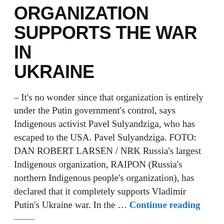ORGANIZATION SUPPORTS THE WAR IN UKRAINE
- It's no wonder since that organization is entirely under the Putin government's control, says Indigenous activist Pavel Sulyandziga, who has escaped to the USA. Pavel Sulyandziga. FOTO: DAN ROBERT LARSEN / NRK Russia's largest Indigenous organization, RAIPON (Russia's northern Indigenous people's organization), has declared that it completely supports Vladimir Putin's Ukraine war. In the … Continue reading
Posted on 28.04.2022
Posted in Суляндзига Павел, English, Front page
Tagged Anne Nuorgam, АКМНСС и ДВ РФ, Арктика, Арктический Совет, Война, Председательство в Арктическом Совете, ICIPR